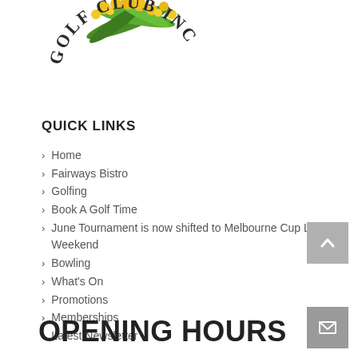[Figure (logo): Golf Club Inc logo with yellow wattle flowers and green leaves above arched text reading 'GOLF CLUB INC']
QUICK LINKS
Home
Fairways Bistro
Golfing
Book A Golf Time
June Tournament is now shifted to Melbourne Cup Long Weekend
Bowling
What's On
Promotions
Memberships
Latest Newsletter
OPENING HOURS